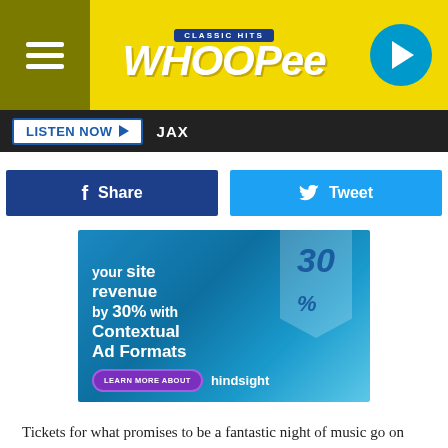[Figure (logo): Classic Hits Whoopee radio station logo on yellow background with hamburger menu and play button]
LISTEN NOW ▶  JAX
[Figure (infographic): Advertisement: increase your site revenue by 30% with Contextual Ad Formats. Learn More About hindsight.]
Tickets for what promises to be a fantastic night of music go on sale this Friday at 10 a.m. on the Big E's website here. I